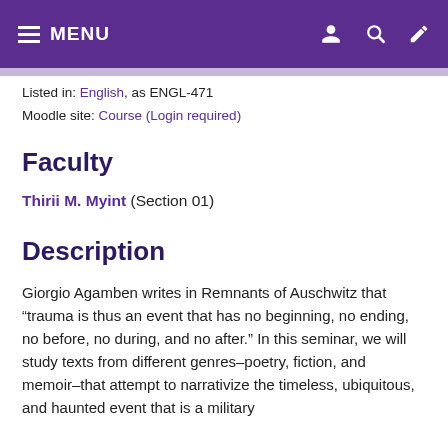MENU
Listed in: English, as ENGL-471
Moodle site: Course (Login required)
Faculty
Thirii M. Myint (Section 01)
Description
Giorgio Agamben writes in Remnants of Auschwitz that “trauma is thus an event that has no beginning, no ending, no before, no during, and no after.” In this seminar, we will study texts from different genres–poetry, fiction, and memoir–that attempt to narrativize the timeless, ubiquitous, and haunted event that is a military